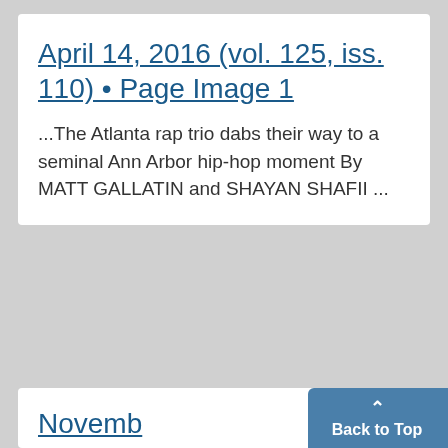April 14, 2016 (vol. 125, iss. 110) • Page Image 1
...The Atlanta rap trio dabs their way to a seminal Ann Arbor hip-hop moment By MATT GALLATIN and SHAYAN SHAFII ...
November 14, 2016